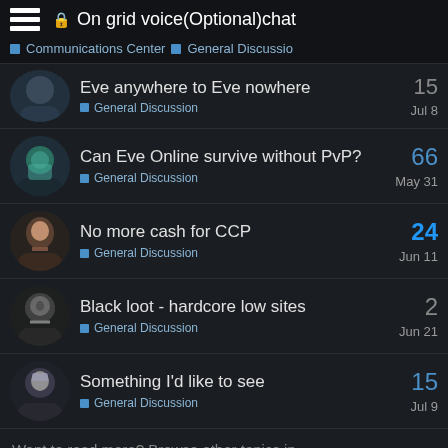On grid voice(Optional)chat
Communications Center · General Discussio
Eve anywhere to Eve nowhere — General Discussion — Jul 8 — 15
Can Eve Online survive without PvP? — General Discussion — May 31 — 66
No more cash for CCP — General Discussion — Jun 11 — 24
Black loot - hardcore low sites — General Discussion — Jun 21 — 2
Something I'd like to see — General Discussion — Jul 9 — 15
Want to read more? Browse other topics in
General Discussion or view latest topics.